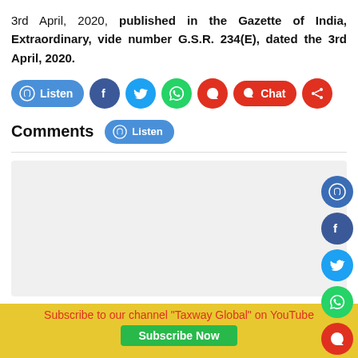3rd April, 2020, published in the Gazette of India, Extraordinary, vide number G.S.R. 234(E), dated the 3rd April, 2020.
[Figure (screenshot): Social sharing toolbar with Listen, Facebook, Twitter, WhatsApp, comment, Chat, and share buttons]
Comments
[Figure (screenshot): Comments section with Listen button, divider, empty comment input box, and 'Be the first to comment' placeholder text]
Be the first to comment
Subscribe to our channel "Taxway Global" on YouTube
[Figure (screenshot): Subscribe Now button (green)]